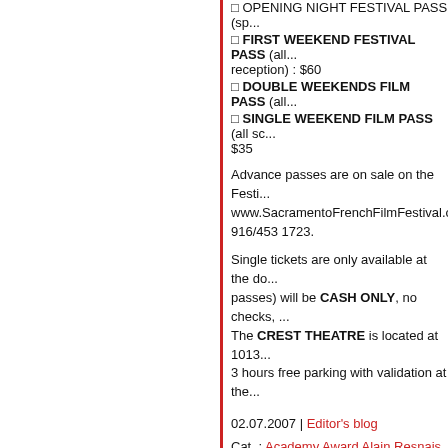□ OPENING NIGHT FESTIVAL PASS (sp...
□ FIRST WEEKEND FESTIVAL PASS (all... reception) : $60
□ DOUBLE WEEKENDS FILM PASS (all...
□ SINGLE WEEKEND FILM PASS (all sc... $35
Advance passes are on sale on the Festi... www.SacramentoFrenchFilmFestival.org... 916/453 1723.
Single tickets are only available at the do... passes) will be CASH ONLY, no checks, ... The CREST THEATRE is located at 1013... 3 hours free parking with validation at the...
02.07.2007 | Editor's blog
Cat. : Academy Award Alain Resnais Alain Téchiné army Asia Barbe Bruno Dumont Chatterley Christian Jaque Christophe Ho... Med Daniel Auteuil Emmanuelle Emman... Entertainment Entertainment Europe FAN... PROGRAMS, COMPRISING AWARD Fi... Française France Frédéric Frédérique Fr... Philipe Gina Lollobrigida Hugo Human In... Ixtapa Jacques Tati Jacques Tati Jean-Ch... Paul Gaultier Jean-Pierre Jeunet Jean-Pi... Children Louis Garrel Marc Caro Marina...